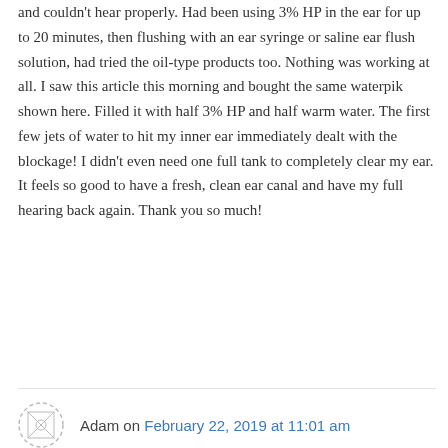and couldn't hear properly. Had been using 3% HP in the ear for up to 20 minutes, then flushing with an ear syringe or saline ear flush solution, had tried the oil-type products too. Nothing was working at all. I saw this article this morning and bought the same waterpik shown here. Filled it with half 3% HP and half warm water. The first few jets of water to hit my inner ear immediately dealt with the blockage! I didn't even need one full tank to completely clear my ear. It feels so good to have a fresh, clean ear canal and have my full hearing back again. Thank you so much!
↳ Reply
Adam on February 22, 2019 at 11:01 am